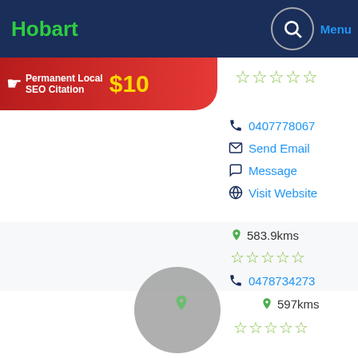Hobart
[Figure (screenshot): Business listing screenshot with header, SEO banner, listing cards for McMinn Earth Works Pty Ltd and Jamal Nasir]
Permanent Local SEO Citation $10
☆☆☆☆☆
0407778067
Send Email
Message
Visit Website
McMinn Earth Works Pty Ltd
583.9kms
☆☆☆☆☆
0478734273
Send Email
Message
Jamal Nasir
597kms
☆☆☆☆☆